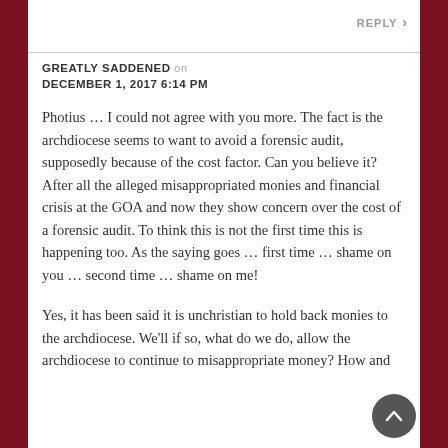REPLY ›
GREATLY SADDENED on DECEMBER 1, 2017 6:14 PM
Photius … I could not agree with you more. The fact is the archdiocese seems to want to avoid a forensic audit, supposedly because of the cost factor. Can you believe it? After all the alleged misappropriated monies and financial crisis at the GOA and now they show concern over the cost of a forensic audit. To think this is not the first time this is happening too. As the saying goes … first time … shame on you … second time … shame on me!
Yes, it has been said it is unchristian to hold back monies to the archdiocese. We'll if so, what do we do, allow the archdiocese to continue to misappropriate money? How and